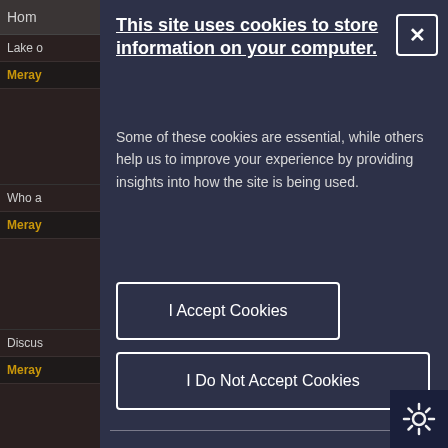[Figure (screenshot): Dark-themed website sidebar partially visible on the left, showing navigation items including Home, Lake o..., Meray... (in gold), Who a..., Meray... (in gold), Discus..., Meray... (in gold).]
This site uses cookies to store information on your computer.
Some of these cookies are essential, while others help us to improve your experience by providing insights into how the site is being used.
I Accept Cookies
I Do Not Accept Cookies
Necessary Cookies
Necessary cookies enable core functionality such as page navigation and access to secure ar...